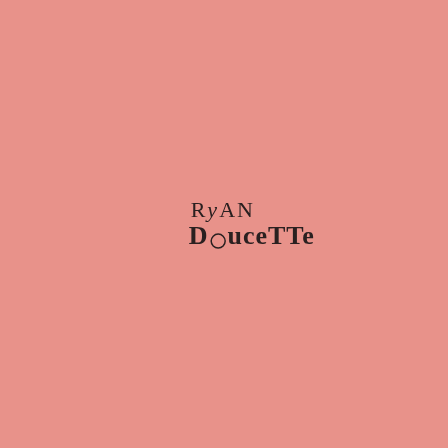[Figure (logo): Ryan Doucette logo in dark handwritten/serif mixed typography on a salmon/coral pink background. 'Ryan' in cursive script above, 'Doucette' in bold serif below with a circular ring glyph replacing the letter 'o'.]